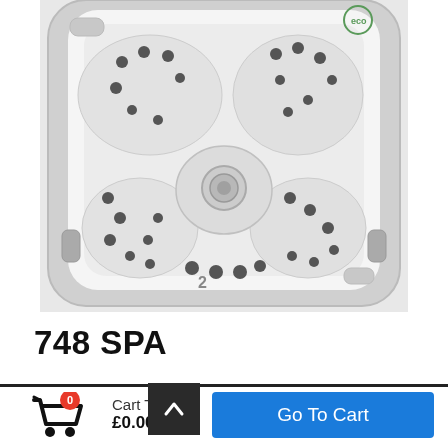[Figure (photo): Top-down aerial view of a white hot tub / spa (748 SPA) showing multiple jet seats, circular footwell, numerous dark jets and drain openings, and molded contoured seating areas.]
748 SPA
Cart Total £0.00
Go To Cart